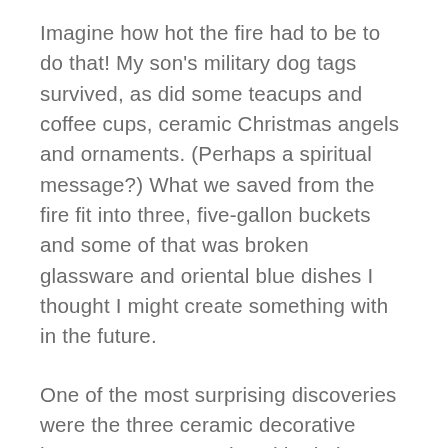Imagine how hot the fire had to be to do that! My son's military dog tags survived, as did some teacups and coffee cups, ceramic Christmas angels and ornaments. (Perhaps a spiritual message?) What we saved from the fire fit into three, five-gallon buckets and some of that was broken glassware and oriental blue dishes I thought I might create something with in the future.
One of the most surprising discoveries were the three ceramic decorative houses my Mom and Dad had given me. They